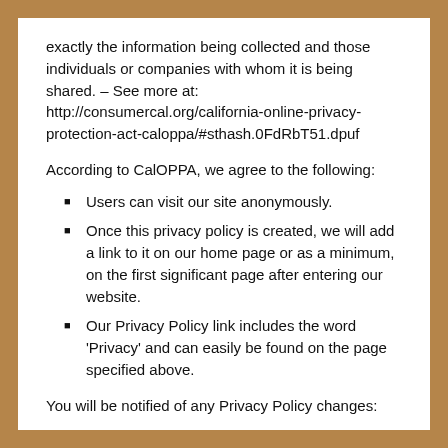exactly the information being collected and those individuals or companies with whom it is being shared. – See more at: http://consumercal.org/california-online-privacy-protection-act-caloppa/#sthash.0FdRbT51.dpuf
According to CalOPPA, we agree to the following:
Users can visit our site anonymously.
Once this privacy policy is created, we will add a link to it on our home page or as a minimum, on the first significant page after entering our website.
Our Privacy Policy link includes the word 'Privacy' and can easily be found on the page specified above.
You will be notified of any Privacy Policy changes: